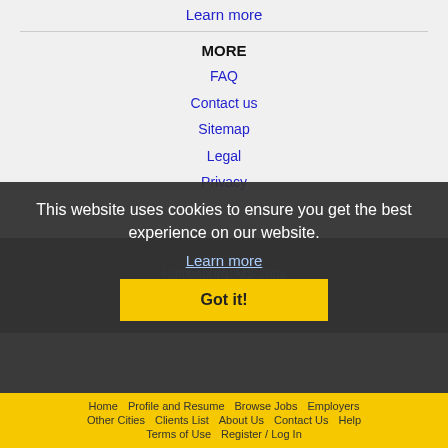Learn more
MORE
FAQ
Contact us
Sitemap
Legal
Privacy
NEARBY CITIES
Hattiesburg, MS Jobs
This website uses cookies to ensure you get the best experience on our website.
Learn more
Got it!
Home   Profile and Resume   Browse Jobs   Employers   Other Cities   Clients List   About Us   Contact Us   Help   Terms of Use   Register / Log In